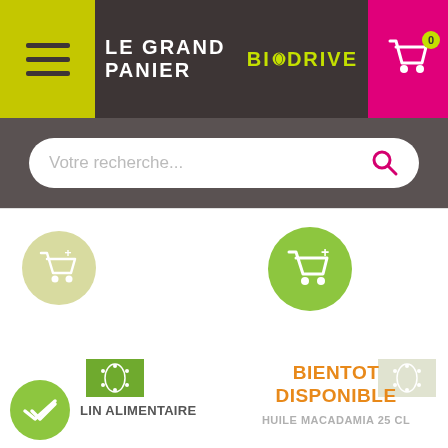LE GRAND PANIER BIO DRIVE
Votre recherche...
[Figure (screenshot): Faded add-to-cart circle icon (yellowish-green)]
[Figure (screenshot): Active add-to-cart circle icon (bright green)]
[Figure (screenshot): EU organic certification badge (star leaf, green)]
[Figure (screenshot): EU organic certification badge (faded)]
BIENTOT DISPONIBLE
HUILE MACADAMIA 25 CL
[Figure (screenshot): Green check circle icon]
LIN ALIMENTAIRE